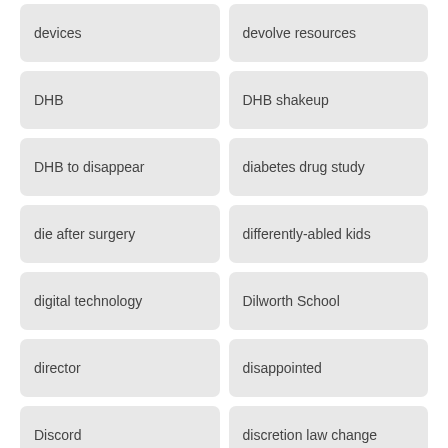devices
devolve resources
DHB
DHB shakeup
DHB to disappear
diabetes drug study
die after surgery
differently-abled kids
digital technology
Dilworth School
director
disappointed
Discord
discretion law change
discrimination
Discusdsion Document